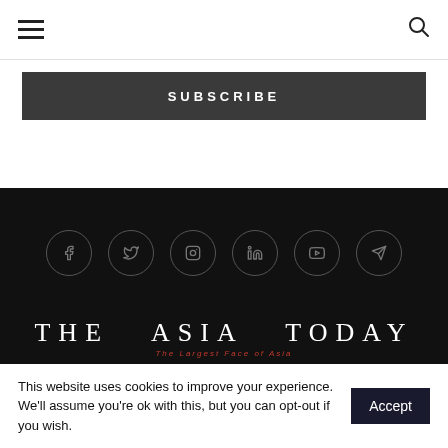Navigation bar with hamburger menu and search icon
SUBSCRIBE
[Figure (other): Dark footer section with social media icons: Facebook, Twitter, Instagram, LinkedIn, YouTube, Telegram — each in a circle outline]
[Figure (logo): The Asia Today logo in white serif font with red italic tagline 'The Largest Face of Asia']
This website uses cookies to improve your experience. We'll assume you're ok with this, but you can opt-out if you wish.